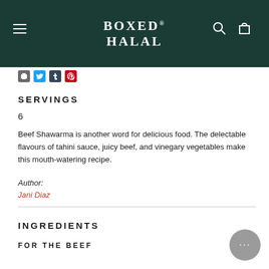BOXED HALAL
SERVINGS
6
Beef Shawarma is another word for delicious food. The delectable flavours of tahini sauce, juicy beef, and vinegary vegetables make this mouth-watering recipe.
Author: Jani Diaz
INGREDIENTS
FOR THE BEEF